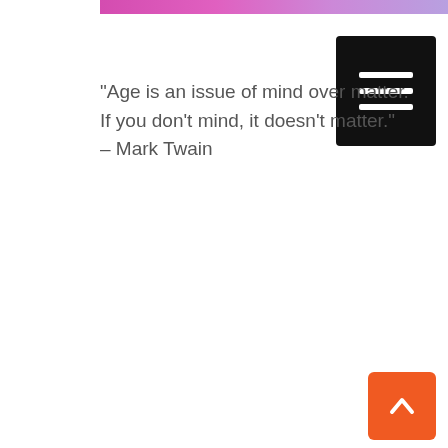[Figure (other): Pink to purple gradient horizontal banner strip at top of page]
[Figure (other): Black hamburger menu icon button with three white horizontal lines]
"Age is an issue of mind over matter. If you don't mind, it doesn't matter." – Mark Twain
[Figure (other): Orange scroll-to-top button with upward chevron arrow icon in bottom right corner]